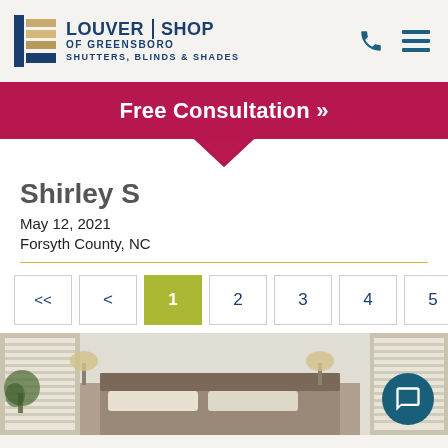Louver Shop of Greensboro — Shutters, Blinds & Shades
Free Consultation »
Shirley S
May 12, 2021
Forsyth County, NC
<< < 1 2 3 4 5 6
[Figure (photo): Interior bedroom photo showing window shutters/blinds installed on multiple windows, with a plant and bedroom furniture visible.]